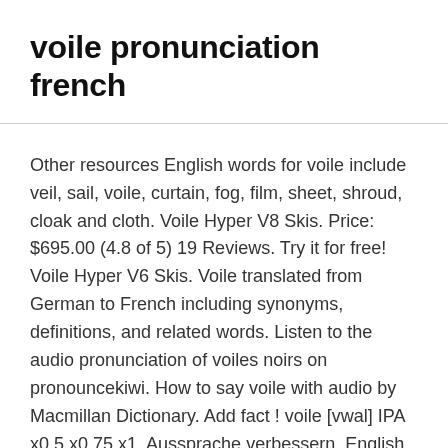voile pronunciation french
Other resources English words for voile include veil, sail, voile, curtain, fog, film, sheet, shroud, cloak and cloth. Voile Hyper V8 Skis. Price: $695.00 (4.8 of 5) 19 Reviews. Try it for free! Voile Hyper V6 Skis. Voile translated from German to French including synonyms, definitions, and related words. Listen to the audio pronunciation of voiles noirs on pronouncekiwi. How to say voile with audio by Macmillan Dictionary. Add fact ! voile [vwal] IPA x0.5 x0.75 x1. Aussprache verbessern. English words for voilé include veiled, warped, hazy, covert, overcast, buckled, masked and husky. Includes free vocabulary trainer, verb tables and